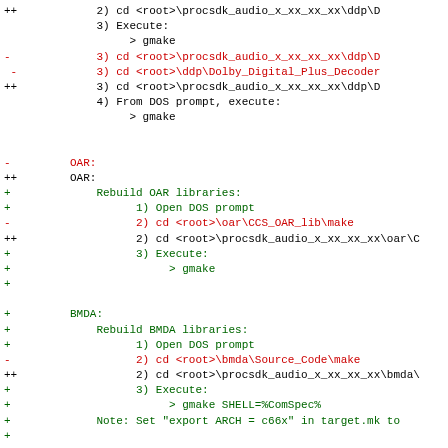Diff view of a software changelog/patch for audio SDK libraries including DDP, OAR, BMDA, and UART LLD sections showing added (++) and removed (-) lines.